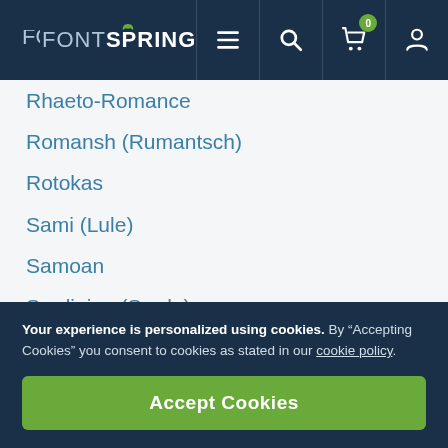FONTSPRING
Rhaeto-Romance
Romansh (Rumantsch)
Rotokas
Sami (Lule)
Samoan
Sardinian (Sardu)
Scots (Gaelic)
Seychellois Creole (Seselwa)
Shona
Sicilian
Somali
Your experience is personalized using cookies. By “Accepting Cookies” you consent to cookies as stated in our cookie policy.
Accept Cookies